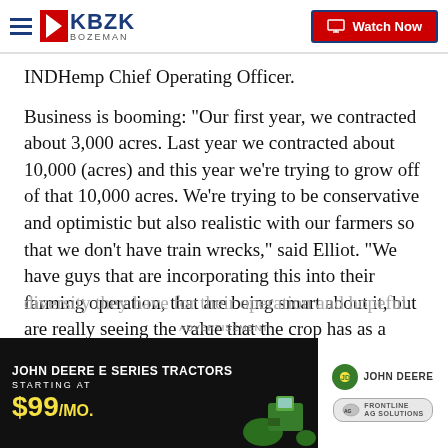7KBZK BOZEMAN | Watch Now
INDHemp Chief Operating Officer.
Business is booming: "Our first year, we contracted about 3,000 acres. Last year we contracted about 10,000 (acres) and this year we're trying to grow off of that 10,000 acres. We're trying to be conservative and optimistic but also realistic with our farmers so that we don't have train wrecks," said Elliot. “We have guys that are incorporating this into their farming operation, that are being smart about it, but are really seeing the value that the crop has as a rotation crop and just th
diversity they have for their operation and hopeful
[Figure (screenshot): John Deere advertisement banner: John Deere E Series Tractors Starting At $99/mo. with John Deere and Frontline Ag Solutions logos]